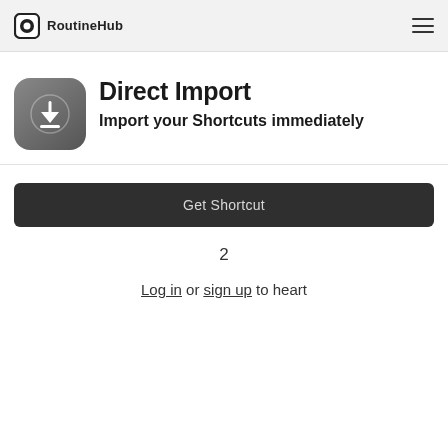RoutineHub
Direct Import
Import your Shortcuts immediately
Get Shortcut
2
Log in or sign up to heart